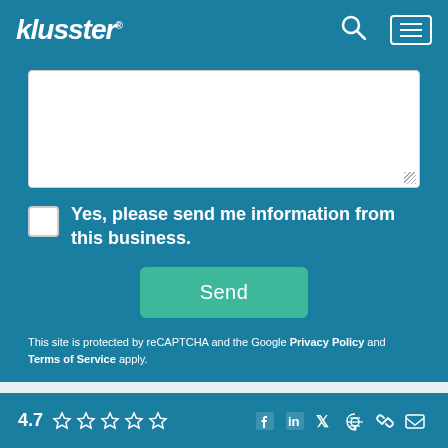klusster®
[Figure (screenshot): Text area input box (empty) with resize handle, for a contact/message form]
Yes, please send me information from this business.
Send
This site is protected by reCAPTCHA and the Google Privacy Policy and Terms of Service apply.
More From This Author
4.7 ☆☆☆☆☆